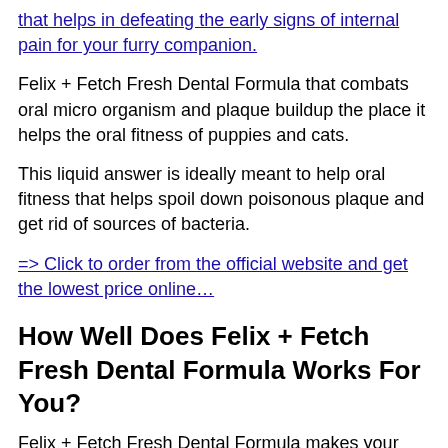that helps in defeating the early signs of internal pain for your furry companion.
Felix + Fetch Fresh Dental Formula that combats oral micro organism and plaque buildup the place it helps the oral fitness of puppies and cats.
This liquid answer is ideally meant to help oral fitness that helps spoil down poisonous plaque and get rid of sources of bacteria.
=> Click to order from the official website and get the lowest price online…
How Well Does Felix + Fetch Fresh Dental Formula Works For You?
Felix + Fetch Fresh Dental Formula makes your pets experience the full advantages of highest quality dental care that they in reality deserve.